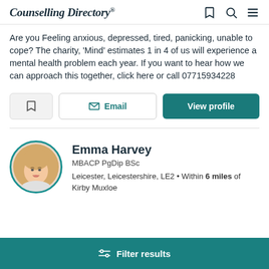Counselling Directory
Are you Feeling anxious, depressed, tired, panicking, unable to cope? The charity, 'Mind' estimates 1 in 4 of us will experience a mental health problem each year. If you want to hear how we can approach this together, click here or call 07715934228
Email | View profile
Emma Harvey
MBACP PgDip BSc
Leicester, Leicestershire, LE2 • Within 6 miles of Kirby Muxloe
Filter results